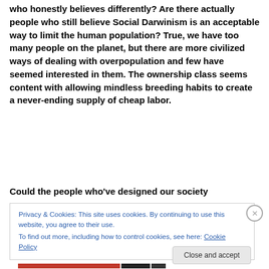who honestly believes differently? Are there actually people who still believe Social Darwinism is an acceptable way to limit the human population? True, we have too many people on the planet, but there are more civilized ways of dealing with overpopulation and few have seemed interested in them. The ownership class seems content with allowing mindless breeding habits to create a never-ending supply of cheap labor.
Could the people who've designed our society
Privacy & Cookies: This site uses cookies. By continuing to use this website, you agree to their use.
To find out more, including how to control cookies, see here: Cookie Policy
Close and accept